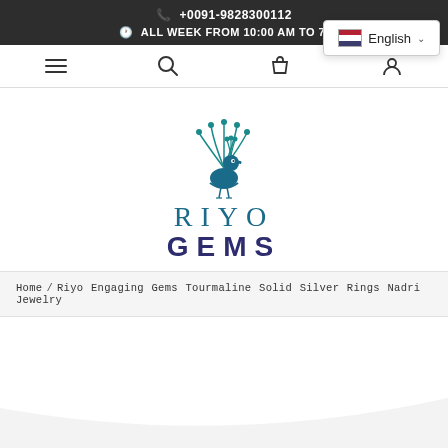+0091-9828300112  ALL WEEK FROM 10:00 AM TO 7:...  English
[Figure (logo): Riyo Gems logo with teal peacock illustration above the text RIYO GEMS]
Home / Riyo Engaging Gems Tourmaline Solid Silver Rings Nadri Jewelry